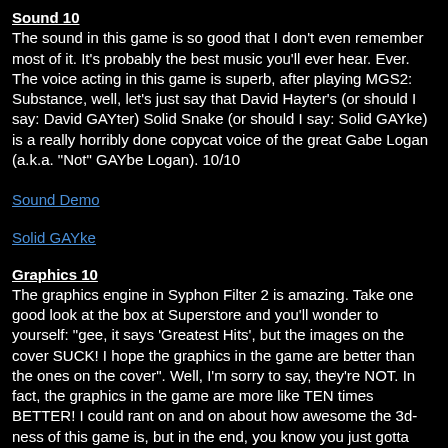Sound 10
The sound in this game is so good that I don't even remember most of it. It's probably the best music you'll ever hear. Ever. The voice acting in this game is superb, after playing MGS2: Substance, well, let's just say that David Hayter's (or should I say: David GAYter) Solid Snake (or should I say: Solid GAYke) is a really horribly done copycat voice of the great Gabe Logan (a.k.a. "Not" GAYbe Logan). 10/10
Sound Demo
Solid GAYke
Graphics 10
The graphics engine in Syphon Filter 2 is amazing. Take one good look at the box at Superstore and you'll wonder to yourself: "gee, it says 'Greatest Hits', but the images on the cover SUCK! I hope the graphics in the game are better than the ones on the cover". Well, I'm sorry to say, they're NOT. In fact, the graphics in the game are more like TEN times BETTER! I could rant on and on about how awesome the 3d-ness of this game is, but in the end, you know you just gotta see for yourself: 10/10
Example of Awesome Graphic Technology